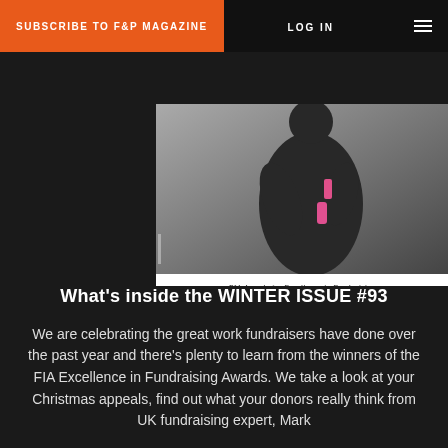SUBSCRIBE TO F&P MAGAZINE  |  LOG IN
[Figure (photo): Magazine cover of F&P showing a person in athletic wear holding a pink bottle, with text 'FIA Awards for Excellence in Fundraising' and sections: WINNING EVENT STRATEGIES - A deep dive, WHAT DONORS THINK - Compelling new research, REFLECTIONS OF A FUNDRAISER - Time to slow down]
What's inside the WINTER ISSUE #93
We are celebrating the great work fundraisers have done over the past year and there's plenty to learn from the winners of the FIA Excellence in Fundraising Awards. We take a look at your Christmas appeals, find out what your donors really think from UK fundraising expert, Mark